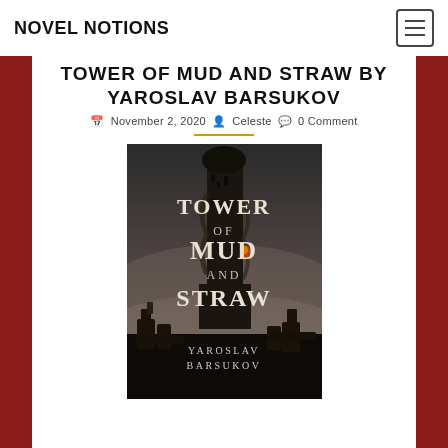NOVEL NOTIONS
TOWER OF MUD AND STRAW BY YAROSLAV BARSUKOV
November 2, 2020  Celeste  0 Comment
[Figure (illustration): Book cover of 'Tower of Mud and Straw' by Yaroslav Barsukov, showing a dark fantasy tower with text overlay]